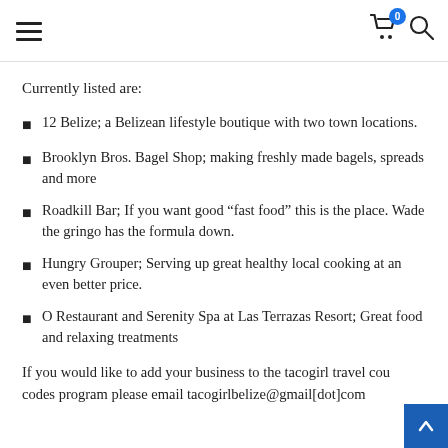Navigation header with hamburger menu, cart icon (badge: 0), and search icon
Currently listed are:
12 Belize; a Belizean lifestyle boutique with two town locations.
Brooklyn Bros. Bagel Shop; making freshly made bagels, spreads and more
Roadkill Bar; If you want good “fast food” this is the place. Wade the gringo has the formula down.
Hungry Grouper; Serving up great healthy local cooking at an even better price.
O Restaurant and Serenity Spa at Las Terrazas Resort; Great food and relaxing treatments
If you would like to add your business to the tacogirl travel cou codes program please email tacogirlbelize@gmail[dot]com